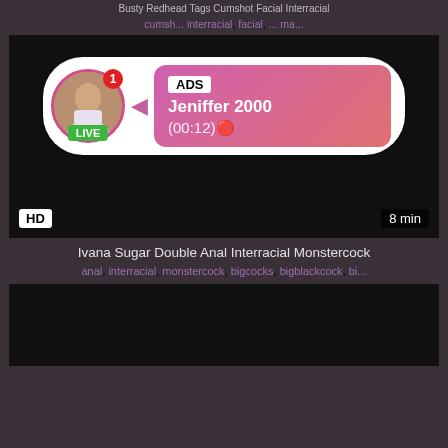Busty Redhead Tags Cumshot Facial Interracial
cumshot, interracial, facial, ma...
[Figure (screenshot): Dark video thumbnail with HD badge and 8 min duration. An ad overlay shows a live profile for Jeniffer 2000 (00:12).]
Ivana Sugar Double Anal Interracial Monstercock
anal, interracial, monstercock, bigcocks, bigblackcock, bi...
[Figure (screenshot): Dark video thumbnail (second video).]